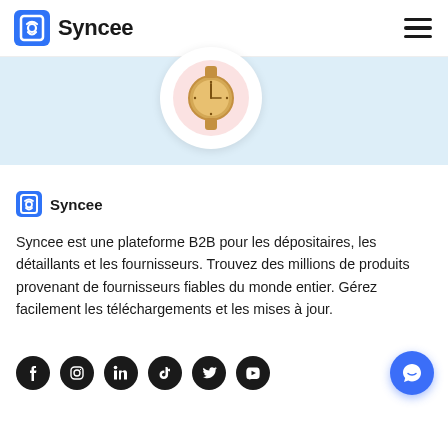Syncee
[Figure (photo): A gold wristwatch on a white circular background with a light blue banner behind it]
Syncee
Syncee est une plateforme B2B pour les dépositaires, les détaillants et les fournisseurs. Trouvez des millions de produits provenant de fournisseurs fiables du monde entier. Gérez facilement les téléchargements et les mises à jour.
[Figure (logo): Social media icons: Facebook, Instagram, LinkedIn, TikTok, Twitter/X, YouTube — all circular black icons, plus a blue chat button]